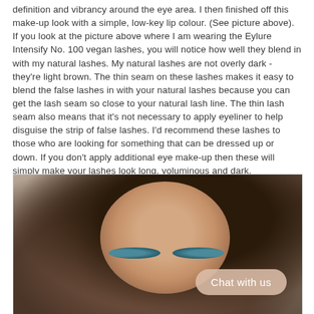definition and vibrancy around the eye area. I then finished off this make-up look with a simple, low-key lip colour. (See picture above). If you look at the picture above where I am wearing the Eylure Intensify No. 100 vegan lashes, you will notice how well they blend in with my natural lashes. My natural lashes are not overly dark - they're light brown. The thin seam on these lashes makes it easy to blend the false lashes in with your natural lashes because you can get the lash seam so close to your natural lash line. The thin lash seam also means that it's not necessary to apply eyeliner to help disguise the strip of false lashes. I'd recommend these lashes to those who are looking for something that can be dressed up or down. If you don't apply additional eye make-up then these will simply make your lashes look long, voluminous and dark. Alternatively you can incorporate them into a more dramatic eye make-up look.
[Figure (photo): Close-up photograph of a woman with dark hair and blue eyes, wearing false lashes and make-up. A 'Chat with us' button overlay appears in the lower right of the image.]